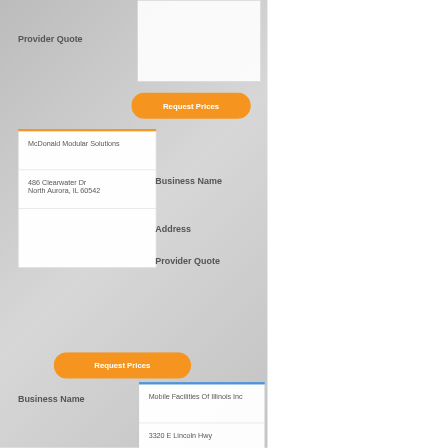Provider Quote
McDonald Modular Solutions
486 Clearwater Dr
North Aurora, IL 60542
Business Name
Address
Provider Quote
Request Prices
Request Prices
Business Name
Mobile Facilities Of Illinois Inc
3320 E Lincoln Hwy